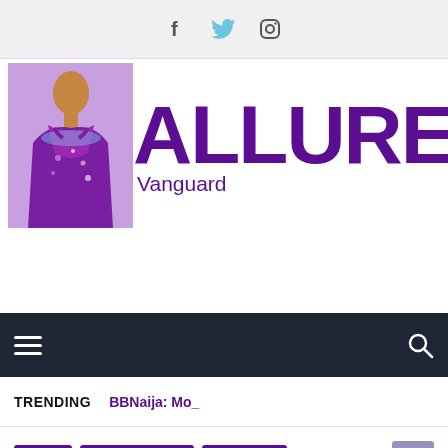Social media icons: Facebook, Twitter, Instagram
[Figure (logo): Allure Vanguard logo: woman in purple sequin dress on left, bold purple ALLURE text with Vanguard subtitle]
[Figure (infographic): Dark navigation bar with hamburger menu icon on left and search icon on right]
TRENDING  BBNaija: Mo_
FOOD  HEALTHY LIVING  TRENDING